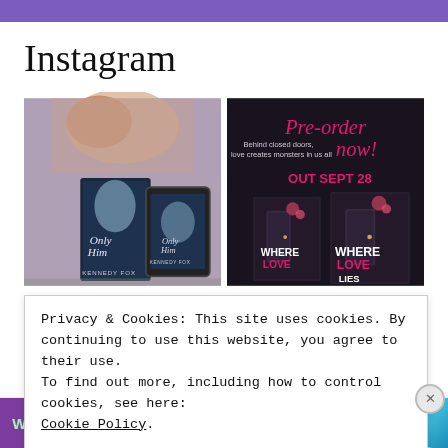Instagram
[Figure (photo): Book cover mockup for 'Only Him' by Kennedy Fox, showing physical book and tablet version with a couple embracing on a romantic background]
[Figure (photo): Pre-order promotional image for 'Where Love Lies' — dark background with pink cursive text 'Pre-order now!', pink 'OUT SEPT 28' text, and book cover mockups]
Privacy & Cookies: This site uses cookies. By continuing to use this website, you agree to their use.
To find out more, including how to control cookies, see here:
Cookie Policy
Close and accept
[Figure (screenshot): WooCommerce advertisement banner: purple background with WooCommerce logo on left, teal chevron, text 'How to start selling subscriptions online', blue wave shape on right]